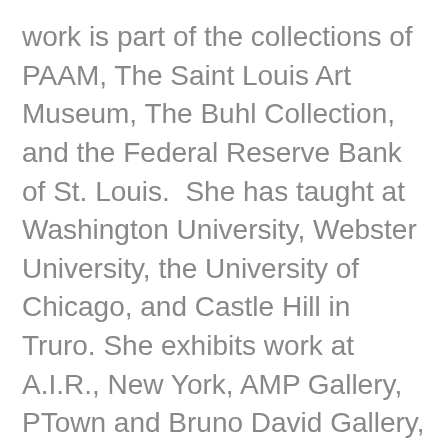work is part of the collections of PAAM, The Saint Louis Art Museum, The Buhl Collection, and the Federal Reserve Bank of St. Louis.  She has taught at Washington University, Webster University, the University of Chicago, and Castle Hill in Truro. She exhibits work at A.I.R., New York, AMP Gallery, PTown and Bruno David Gallery, St. Louis.
Vicky Tomayko is an artist who works with a variety of techniques to create one-of-a-kind prints and editions of silkscreen books. She manages the print studio for the Fine Arts Works Center during its